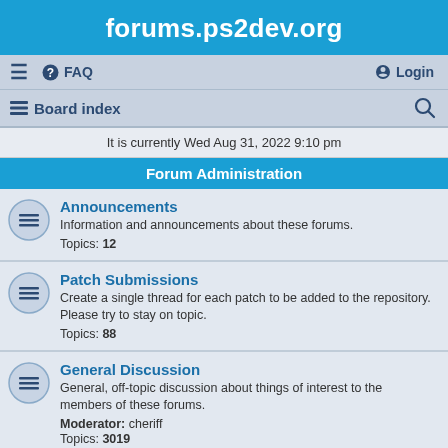forums.ps2dev.org
≡  FAQ  Login
Board index
It is currently Wed Aug 31, 2022 9:10 pm
Forum Administration
Announcements
Information and announcements about these forums. Topics: 12
Patch Submissions
Create a single thread for each patch to be added to the repository. Please try to stay on topic. Topics: 88
General Discussion
General, off-topic discussion about things of interest to the members of these forums. Moderator: cheriff Topics: 3019
Help Wanted Requests
A place to post legitimate, console-related project recruitment or commercial employment opportunities. Topics: 99
The Incredible Hall Of Shame
The dumping ground for the crappiest of posts seen on these forums.